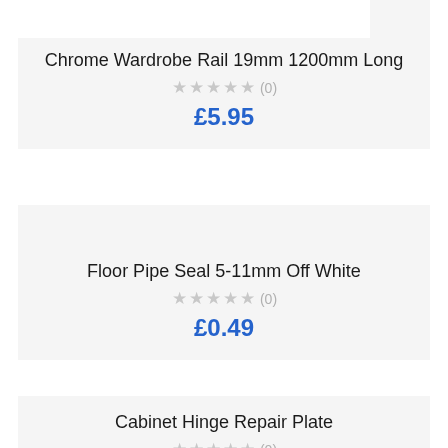Chrome Wardrobe Rail 19mm 1200mm Long
★★★★★ (0)
£5.95
Floor Pipe Seal 5-11mm Off White
★★★★★ (0)
£0.49
Cabinet Hinge Repair Plate
★★★★★ (0)